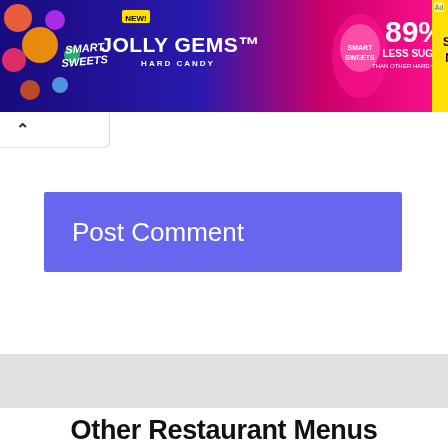[Figure (illustration): Smart Sweets Jolly Gems Hard Candy advertisement banner. Dark blue and pink gradient background. Shows colorful candy pieces, Smart Sweets branding, 'NEW!' badge, 'JOLLY GEMS Hard Candy' text, a bag of Smart Sweets candy, '89% LESS SUGAR THAN OTHER HARD CANDIES' text, and a yellow 'SHOP NOW' button with a small arrow icon.]
Post Comment
Other Restaurant Menus
[Figure (illustration): East of Chicago Pizza card with blue background. Shows 'Menu Prices Hub' logo at top, 'East of Chicago PIZZA' logo in the center, and 'East Of Chicago Pizza Menu Prices (Latest & Officially Approved)' text at the bottom.]